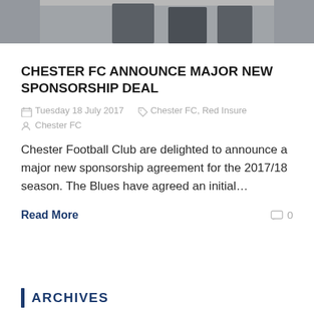[Figure (photo): Partial photo showing figures in dark clothing, partially cropped at top of page]
CHESTER FC ANNOUNCE MAJOR NEW SPONSORSHIP DEAL
Tuesday 18 July 2017  Chester FC, Red Insure  Chester FC
Chester Football Club are delighted to announce a major new sponsorship agreement for the 2017/18 season. The Blues have agreed an initial…
Read More  0
ARCHIVES